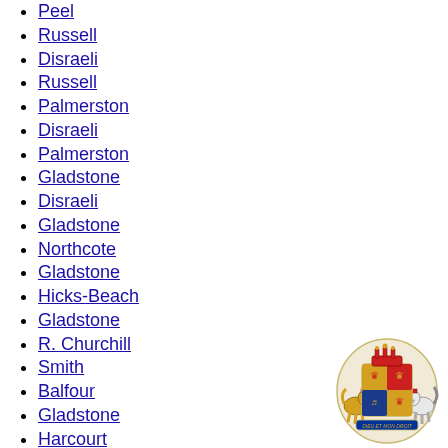Peel
Russell
Disraeli
Russell
Palmerston
Disraeli
Palmerston
Gladstone
Disraeli
Gladstone
Northcote
Gladstone
Hicks-Beach
Gladstone
R. Churchill
Smith
Balfour
Gladstone
Harcourt
Balfour
Campbell-Bannerman
Asquith
Law
A. Chamberlain
Law
[Figure (illustration): Royal coat of arms of the United Kingdom]